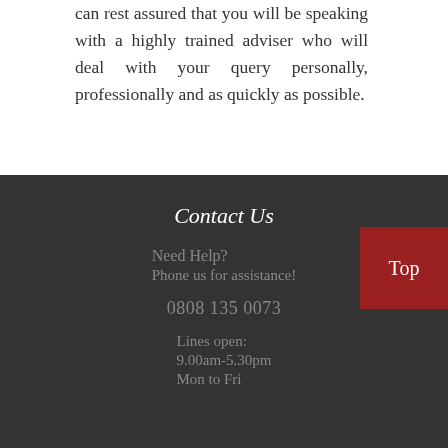can rest assured that you will be speaking with a highly trained adviser who will deal with your query personally, professionally and as quickly as possible.
Contact Us
Need Help?
Phone us for assistance!
0808 135 0073
Lines open:
9.00am-5.30pm
Mon to Fri